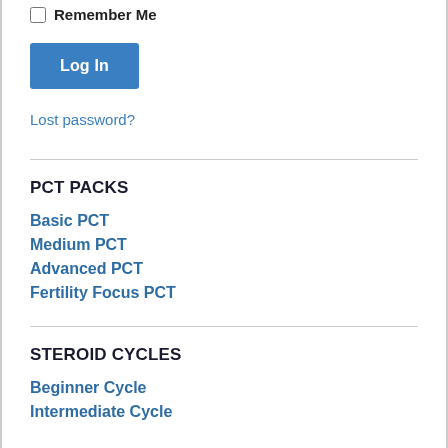Remember Me
Log In
Lost password?
PCT PACKS
Basic PCT
Medium PCT
Advanced PCT
Fertility Focus PCT
STEROID CYCLES
Beginner Cycle
Intermediate Cycle